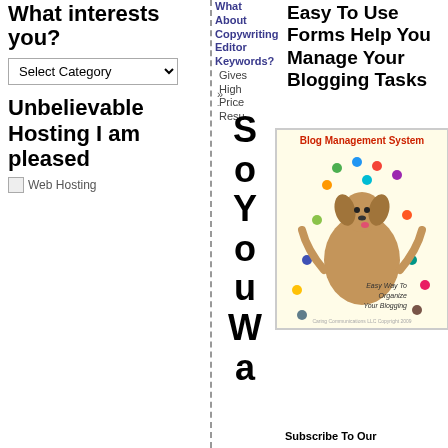What interests you?
Select Category
Unbelievable Hosting I am pleased
[Figure (illustration): Web Hosting image placeholder]
What
About
Copywriting
Editor
Keywords?
Gives High Price Results
Easy To Use Forms Help You Manage Your Blogging Tasks
[Figure (illustration): Blog Management System book cover - cartoon dog juggling colored balls, subtitle Easy Way To Organize Your Blogging]
So You Wa
Subscribe To Our